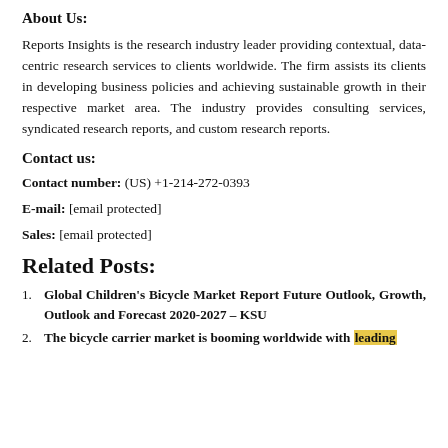About Us:
Reports Insights is the research industry leader providing contextual, data-centric research services to clients worldwide. The firm assists its clients in developing business policies and achieving sustainable growth in their respective market area. The industry provides consulting services, syndicated research reports, and custom research reports.
Contact us:
Contact number: (US) +1-214-272-0393
E-mail: [email protected]
Sales: [email protected]
Related Posts:
Global Children's Bicycle Market Report Future Outlook, Growth, Outlook and Forecast 2020-2027 – KSU
The bicycle carrier market is booming worldwide with leading